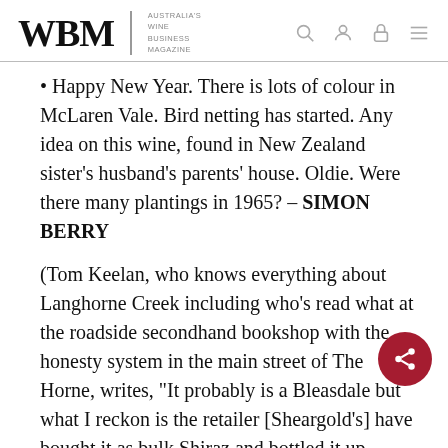WBM Australia's Wine Business Magazine
Happy New Year. There is lots of colour in McLaren Vale. Bird netting has started. Any idea on this wine, found in New Zealand sister's husband's parents' house. Oldie. Were there many plantings in 1965? – SIMON BERRY
(Tom Keelan, who knows everything about Langhorne Creek including who's read what at the roadside secondhand bookshop with the honesty system in the main street of The Horne, writes, "It probably is a Bleasdale but what I reckon is the retailer [Sheargold's] have bought it as bulk Shiraz and bottled it up themselves and labelled it for a customer. RN Smith is the proprietor. I